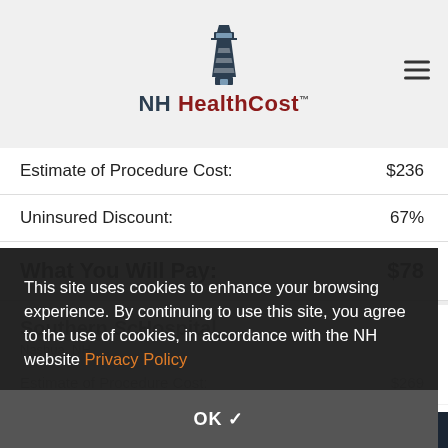[Figure (logo): NH HealthCost lighthouse logo with text 'NH HealthCost TM']
| Label | Value |
| --- | --- |
| Estimate of Procedure Cost: | $236 |
| Uninsured Discount: | 67% |
| What You Will Pay: | $78 |
Southern NH Hospital, Nashua, NH
| Label | Value |
| --- | --- |
| Estimate of Procedure Cost: | $269 |
| Uninsured Discount: | 61% |
This site uses cookies to enhance your browsing experience. By continuing to use this site, you agree to the use of cookies, in accordance with the NH website Privacy Policy
OK ✓
COMPARE SELECTED   Search